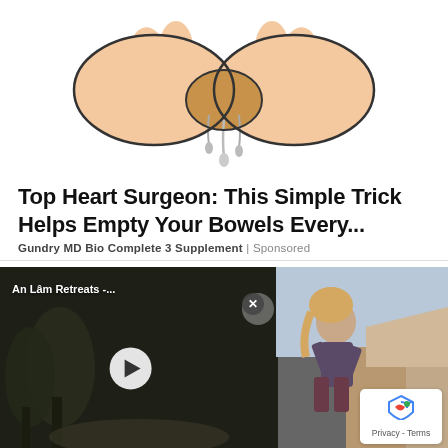[Figure (illustration): Illustration of hands squeezing or wringing something, drawn in a cartoon/line-art style with peach/skin tones and dripping liquid]
Top Heart Surgeon: This Simple Trick Helps Empty Your Bowels Every...
Gundry MD Bio Complete 3 Supplement | Sponsored
[Figure (screenshot): Screenshot of a webpage showing two overlapping media elements: a video thumbnail labeled 'An Lâm Retreats -...' with a play button overlay on a dark outdoor/nature background, and a photo of a person with long hair outdoors near rocky terrain. An X close button appears between them. A reCAPTCHA privacy badge appears in the bottom right corner.]